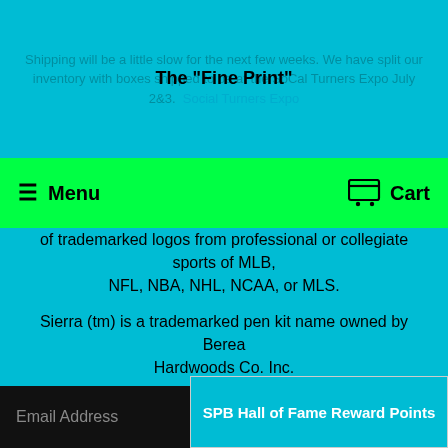Shipping will be a little slow for the next few weeks. We have split our inventory with boxes shipped to be at the SoCal Turners Expo July 2&3. Social Turners Expo
The "Fine Print"
Menu   Cart
of trademarked logos from professional or collegiate sports of MLB, NFL, NBA, NHL, NCAA, or MLS.
Sierra (tm) is a trademarked pen kit name owned by Berea Hardwoods Co. Inc.
SPB Newsletter
Keep up to date with all of our promotions, new products, and FLASH sales and GIVEAWAYS!
- Like and follow us on Facebook!
- Sign up for newsletter messages
Email Address
SPB Hall of Fame Reward Points